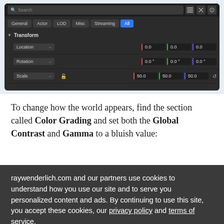[Figure (screenshot): Unreal Engine editor panel showing Transform section with Location (0.0, 0.0, 0.0), Rotation (0.0°, 0.0°, 0.0°), and Scale (50.0, 50.0, 50.0) fields. Filter tabs: General, Actor, LOD, Misc, Streaming, All (active/blue). Search bar at top.]
To change how the world appears, find the section called Color Grading and set both the Global Contrast and Gamma to a bluish value:
raywenderlich.com and our partners use cookies to understand how you use our site and to serve you personalized content and ads. By continuing to use this site, you accept these cookies, our privacy policy and terms of service.